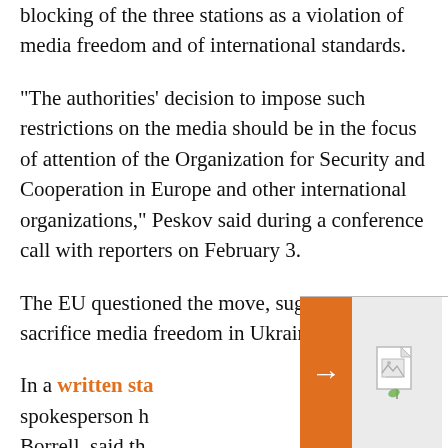blocking of the three stations as a violation of media freedom and of international standards.
"The authorities' decision to impose such restrictions on the media should be in the focus of attention of the Organization for Security and Cooperation in Europe and other international organizations," Peskov said during a conference call with reporters on February 3.
The EU questioned the move, suggesting it could sacrifice media freedom in Ukraine.
In a written sta spokesperson Borrell, said th its territorial i as to defend it
[Figure (other): Orange arrow navigation button with broken image thumbnail and sidebar overlay]
Despite Sweeping Sanctions Over The Ukraine War, Russian Unemployment Touches Post-Soviet Low. Here's Why.